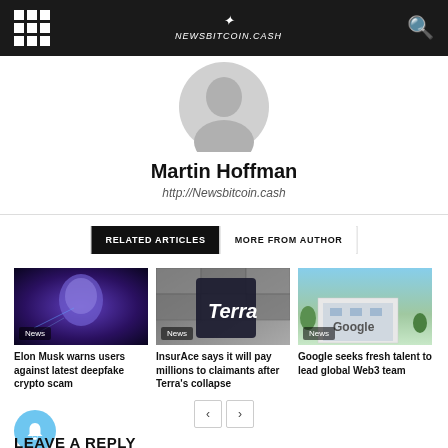Newsbitcoin.cash navigation bar
[Figure (photo): Author avatar placeholder (gray silhouette)]
Martin Hoffman
http://Newsbitcoin.cash
RELATED ARTICLES | MORE FROM AUTHOR
[Figure (photo): Article thumbnail: Elon Musk deepfake crypto scam illustration with purple tones]
Elon Musk warns users against latest deepfake crypto scam
[Figure (photo): Article thumbnail: Terra app on phone with dollar bills background]
InsurAce says it will pay millions to claimants after Terra's collapse
[Figure (photo): Article thumbnail: Google campus building exterior]
Google seeks fresh talent to lead global Web3 team
LEAVE A REPLY